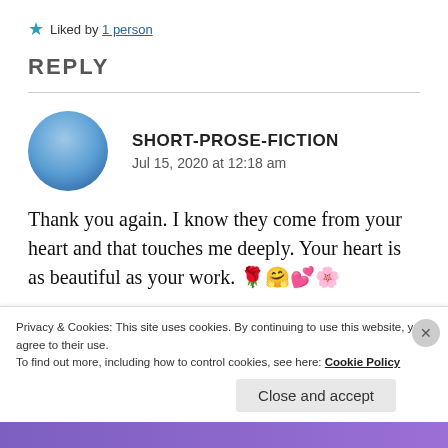★ Liked by 1 person
REPLY
[Figure (illustration): Blue circular avatar for user SHORT-PROSE-FICTION]
SHORT-PROSE-FICTION
Jul 15, 2020 at 12:18 am
Thank you again. I know they come from your heart and that touches me deeply. Your heart is as beautiful as your work. 🌹🤗💕🌸
Privacy & Cookies: This site uses cookies. By continuing to use this website, you agree to their use.
To find out more, including how to control cookies, see here: Cookie Policy
Close and accept